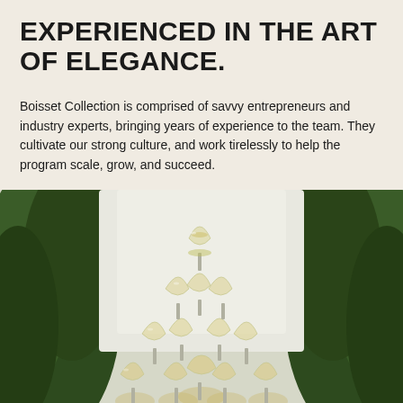EXPERIENCED IN THE ART OF ELEGANCE.
Boisset Collection is comprised of savvy entrepreneurs and industry experts, bringing years of experience to the team. They cultivate our strong culture, and work tirelessly to help the program scale, grow, and succeed.
[Figure (photo): A champagne tower made of coupe glasses stacked in a pyramid, surrounded by tall green cypress trees in the background, outdoors in natural light.]